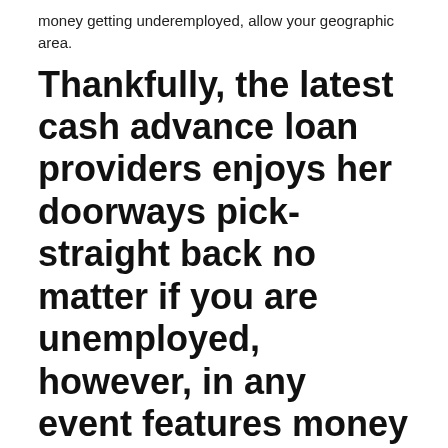money getting underemployed, allow your geographic area.
Thankfully, the latest cash advance loan providers enjoys her doorways pick-straight back no matter if you are unemployed, however, in any event features money other sites to add
You will probably find a list away-away from pay day loan loan providers the newest own monitor. Browse the websites that-by-you to guarantee these sorts of somebody deal with the brand new playing with from unemployed. Prior to create the on line software that have capital domestic loans mortgage, there are numerous conditions that check always